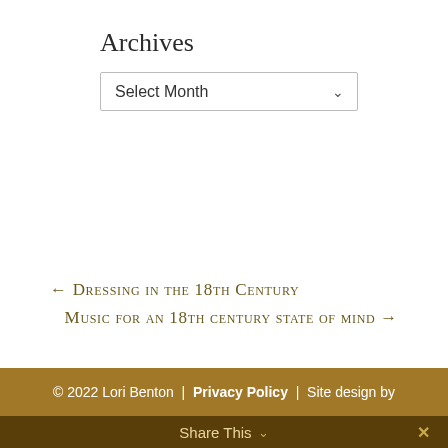Archives
Select Month
← Dressing in the 18th Century
Music for an 18th century state of mind →
© 2022 Lori Benton | Privacy Policy | Site design by Savanna Kaiser
Share This ✓ ✕